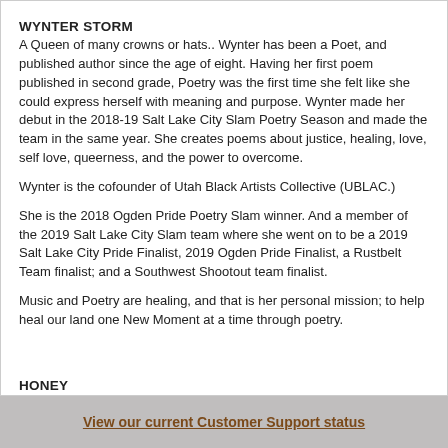WYNTER STORM
A Queen of many crowns or hats.. Wynter has been a Poet, and published author since the age of eight. Having her first poem published in second grade, Poetry was the first time she felt like she could express herself with meaning and purpose. Wynter made her debut in the 2018-19 Salt Lake City Slam Poetry Season and made the team in the same year. She creates poems about justice, healing, love, self love, queerness, and the power to overcome.
Wynter is the cofounder of Utah Black Artists Collective (UBLAC.)
She is the 2018 Ogden Pride Poetry Slam winner. And a member of the 2019 Salt Lake City Slam team where she went on to be a 2019 Salt Lake City Pride Finalist, 2019 Ogden Pride Finalist, a Rustbelt Team finalist; and a Southwest Shootout team finalist.
Music and Poetry are healing, and that is her personal mission; to help heal our land one New Moment at a time through poetry.
HONEY
A proud bird and rote Black Indigenous woman and a disclaimer is
View our current Customer Support status